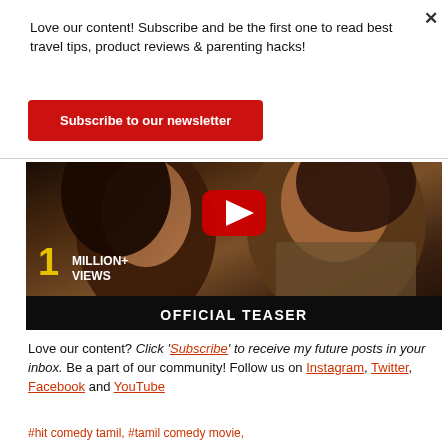Love our content! Subscribe and be the first one to read best travel tips, product reviews & parenting hacks!
Subscribe to our newsletter
[Figure (screenshot): YouTube video thumbnail showing a couple in a romantic scene with a red YouTube play button in the center, '1 MILLION+ VIEWS' text in yellow on the lower left, and 'OFFICIAL TEASER' text on a black bar at the bottom.]
Love our content? Click 'Subscribe' to receive my future posts in your inbox. Be a part of our community! Follow us on Instagram, Twitter, Facebook and YouTube
#hit comedy tamil, #tamil comedy movie,